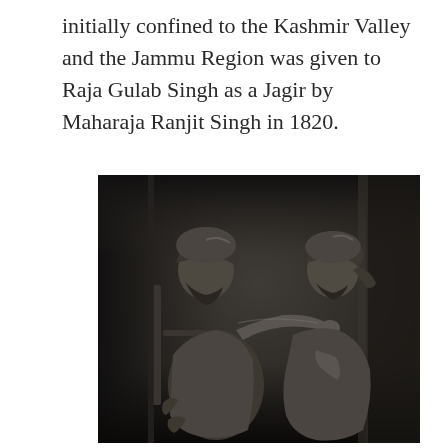initially confined to the Kashmir Valley and the Jammu Region was given to Raja Gulab Singh as a Jagir by Maharaja Ranjit Singh in 1820.
[Figure (photo): A dark bronze or metal relief sculpture depicting two turbaned figures. One figure, seated on the left, extends an arm toward the other figure seated on the right. Both wear traditional attire and turbans. The carving shows detailed drapery and facial features in a three-dimensional bas-relief style.]